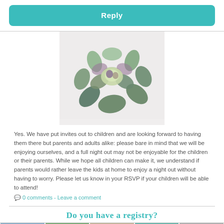Reply
[Figure (illustration): Watercolor illustration of a succulent plant with green and purple petals on a light gray background]
Yes. We have put invites out to children and are looking forward to having them there but parents and adults alike: please bare in mind that we will be enjoying ourselves, and a full night out may not be enjoyable for the children or their parents. While we hope all children can make it, we understand if parents would rather leave the kids at home to enjoy a night out without having to worry. Please let us know in your RSVP if your children will be able to attend!
0 comments - Leave a comment
Do you have a registry?
[Figure (photo): Bottom strip showing partial photos of registry items]